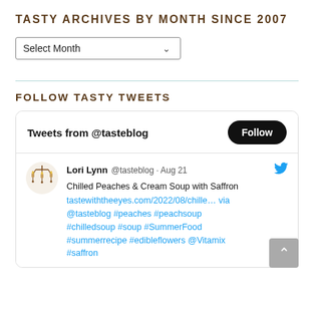TASTY ARCHIVES BY MONTH SINCE 2007
[Figure (other): Select Month dropdown widget]
FOLLOW TASTY TWEETS
[Figure (screenshot): Twitter widget showing Tweets from @tasteblog with a Follow button and a tweet by Lori Lynn @tasteblog · Aug 21: Chilled Peaches & Cream Soup with Saffron tastewiththeeyes.com/2022/08/chille… via @tasteblog #peaches #peachsoup #chilledsoup #soup #SummerFood #summerrecipe #edibleflowers @Vitamix #saffron]